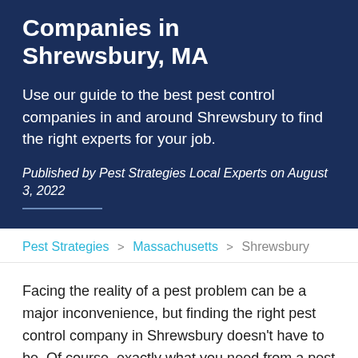Companies in Shrewsbury, MA
Use our guide to the best pest control companies in and around Shrewsbury to find the right experts for your job.
Published by Pest Strategies Local Experts on August 3, 2022
Pest Strategies > Massachusetts > Shrewsbury
Facing the reality of a pest problem can be a major inconvenience, but finding the right pest control company in Shrewsbury doesn't have to be. Of course, exactly what you need from a pest control company may depend on the area you live in